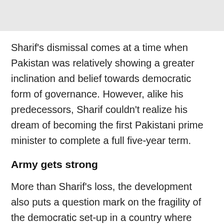Sharif's dismissal comes at a time when Pakistan was relatively showing a greater inclination and belief towards democratic form of governance. However, alike his predecessors, Sharif couldn't realize his dream of becoming the first Pakistani prime minister to complete a full five-year term.
Army gets strong
More than Sharif's loss, the development also puts a question mark on the fragility of the democratic set-up in a country where army enjoys a larger say in the affairs of governance.
Many have expressed apprehensions that it was